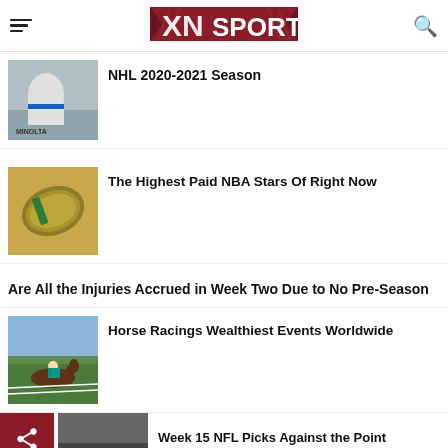XN SPORTS
[Figure (photo): Hockey player in Edmonton Oilers jersey near Minolta advertisement]
NHL 2020-2021 Season
[Figure (photo): Rolled up US dollar bills]
The Highest Paid NBA Stars Of Right Now
Are All the Injuries Accrued in Week Two Due to No Pre-Season
[Figure (photo): Horse racing jockey on horse at racetrack]
Horse Racings Wealthiest Events Worldwide
Week 15 NFL Picks Against the Point